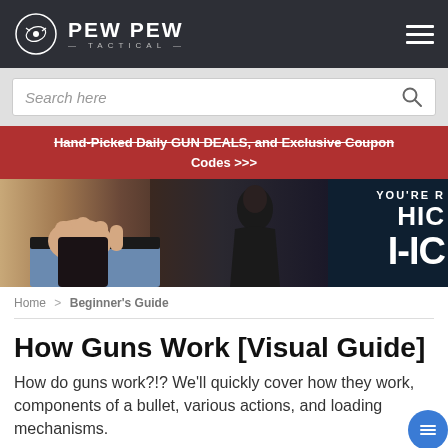PEW PEW TACTICAL
[Figure (screenshot): Search bar with placeholder text 'Search here' and search icon]
Hand-Picked Daily GUN DEALS, and Exclusive Coupon Codes >>>
[Figure (photo): Hero banner image showing a hand gripping a concealed carry holster on the left, a hooded figure in rain/dramatic background in center, and white text on dark right side reading 'YOU'RE R HIC I-IC']
Home > Beginner's Guide
How Guns Work [Visual Guide]
How do guns work?!? We'll quickly cover how they work, components of a bullet, various actions, and loading mechanisms.